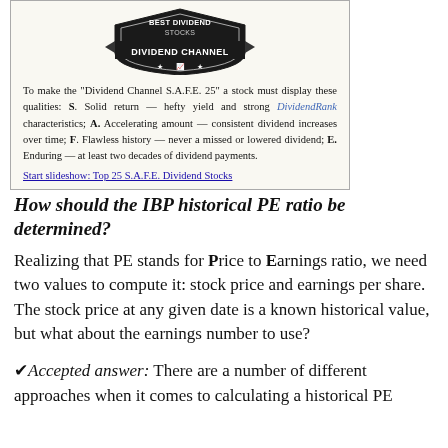[Figure (logo): Dividend Channel logo — shield/badge shape with 'DIVIDEND CHANNEL' text and a small chart icon with stars]
To make the "Dividend Channel S.A.F.E. 25" a stock must display these qualities: S. Solid return — hefty yield and strong DividendRank characteristics; A. Accelerating amount — consistent dividend increases over time; F. Flawless history — never a missed or lowered dividend; E. Enduring — at least two decades of dividend payments.
Start slideshow: Top 25 S.A.F.E. Dividend Stocks
How should the IBP historical PE ratio be determined?
Realizing that PE stands for Price to Earnings ratio, we need two values to compute it: stock price and earnings per share. The stock price at any given date is a known historical value, but what about the earnings number to use?
✔Accepted answer: There are a number of different approaches when it comes to calculating a historical PE ratio for a company like that called Building Products Me li...